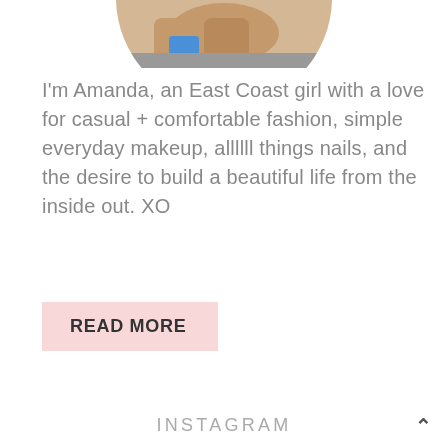[Figure (photo): Circular profile photo cropped at top showing person's legs and lower body in blue outfit, sitting on stone steps]
I'm Amanda, an East Coast girl with a love for casual + comfortable fashion, simple everyday makeup, allllll things nails, and the desire to build a beautiful life from the inside out. XO
READ MORE
INSTAGRAM